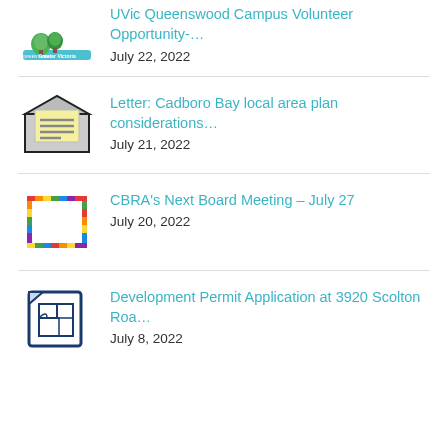UVic Queenswood Campus Volunteer Opportunity-…
July 22, 2022
Letter: Cadboro Bay local area plan considerations…
July 21, 2022
CBRA's Next Board Meeting – July 27
July 20, 2022
Development Permit Application at 3920 Scolton Roa…
July 8, 2022